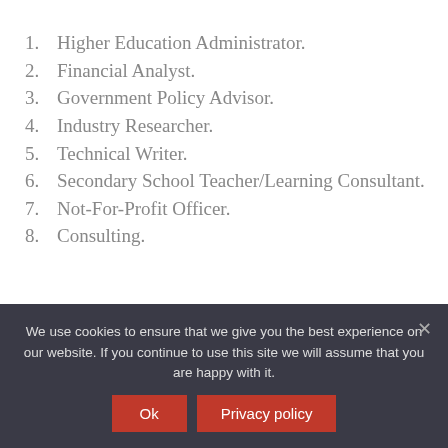1. Higher Education Administrator.
2. Financial Analyst.
3. Government Policy Advisor.
4. Industry Researcher.
5. Technical Writer.
6. Secondary School Teacher/Learning Consultant.
7. Not-For-Profit Officer.
8. Consulting.
What is the scope of
We use cookies to ensure that we give you the best experience on our website. If you continue to use this site we will assume that you are happy with it.